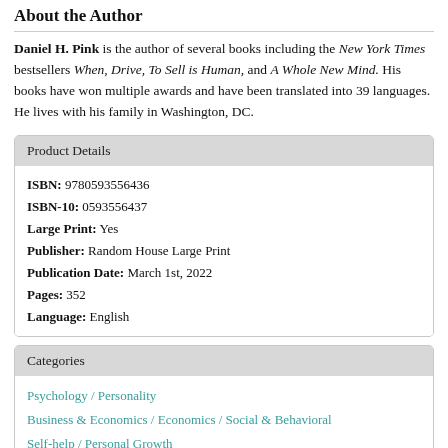About the Author
Daniel H. Pink is the author of several books including the New York Times bestsellers When, Drive, To Sell is Human, and A Whole New Mind. His books have won multiple awards and have been translated into 39 languages. He lives with his family in Washington, DC.
| Product Details |
| --- |
| ISBN: 9780593556436 |
| ISBN-10: 0593556437 |
| Large Print: Yes |
| Publisher: Random House Large Print |
| Publication Date: March 1st, 2022 |
| Pages: 352 |
| Language: English |
| Categories |
| --- |
| Psychology / Personality |
| Business & Economics / Economics / Social & Behavioral |
| Self-help / Personal Growth |